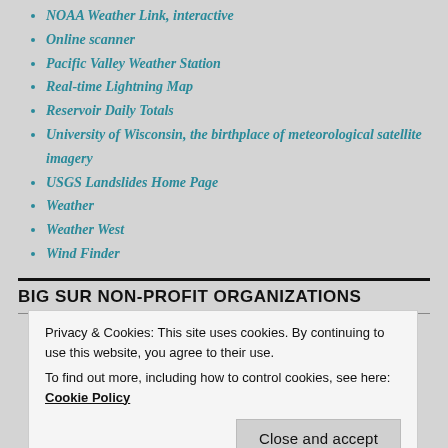NOAA Weather Link, interactive
Online scanner
Pacific Valley Weather Station
Real-time Lightning Map
Reservoir Daily Totals
University of Wisconsin, the birthplace of meteorological satellite imagery
USGS Landslides Home Page
Weather
Weather West
Wind Finder
BIG SUR NON-PROFIT ORGANIZATIONS
Big Sur Fire
Privacy & Cookies: This site uses cookies. By continuing to use this website, you agree to their use.
To find out more, including how to control cookies, see here: Cookie Policy
Big Sur Land Trust
Camaldori Hermitage